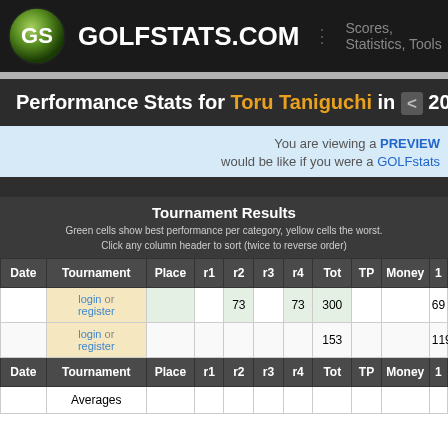GOLFSTATS.COM — Scores, Statistics, Tools
Performance Stats for Toru Taniguchi in < 2013
You are viewing a PREVIEW would be like if you were a GOLFstats
| Date | Tournament | Place | r1 | r2 | r3 | r4 | Tot | TP | Money | 1 |
| --- | --- | --- | --- | --- | --- | --- | --- | --- | --- | --- |
|  | login or register |  |  | 73 |  | 73 | 300 |  |  | 69 |
|  | login or register |  |  |  |  |  | 153 |  |  | 119 |
| Date | Tournament | Place | r1 | r2 | r3 | r4 | Tot | TP | Money | 1 |
|  | Averages |  |  |  |  |  |  |  |  |  |